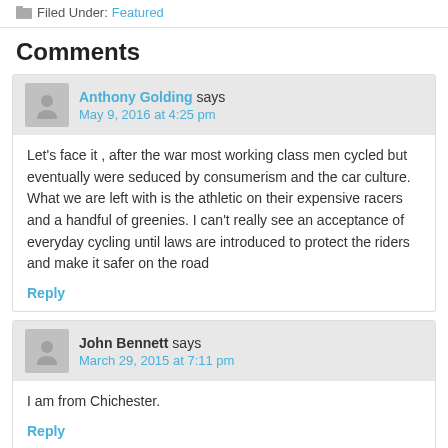Filed Under: Featured
Comments
Anthony Golding says
May 9, 2016 at 4:25 pm
Let's face it , after the war most working class men cycled but eventually were seduced by consumerism and the car culture. What we are left with is the athletic on their expensive racers and a handful of greenies. I can't really see an acceptance of everyday cycling until laws are introduced to protect the riders and make it safer on the road
Reply
John Bennett says
March 29, 2015 at 7:11 pm
I am from Chichester.
Reply